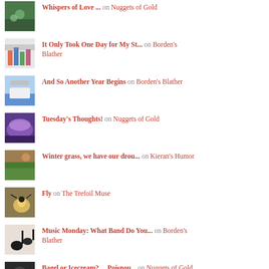Whispers of Love ... on Nuggets of Gold
It Only Took One Day for My St... on Borden's Blather
And So Another Year Begins on Borden's Blather
Tuesday's Thoughts! on Nuggets of Gold
Winter grass, we have our drou... on Kieran's Humor
Fly on The Trefoil Muse
Music Monday: What Band Do You... on Borden's Blather
Bagel or Icecream? ... Poisnou... on Nuggets of Gold
The Sunday Traveler's Comings... on AngelineM's Blo...